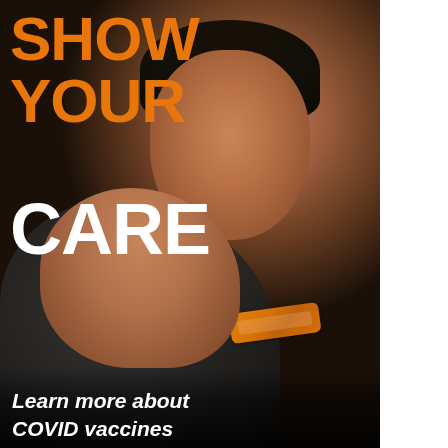[Figure (photo): A Black woman in a sparkly grey jacket looks at the camera while pulling down her shoulder to reveal an orange bandage/band-aid on her upper arm, indicating she has received a COVID vaccine. The background is dark. The image is used in a public health vaccination campaign.]
SHOW YOUR CARE
Learn more about COVID vaccines